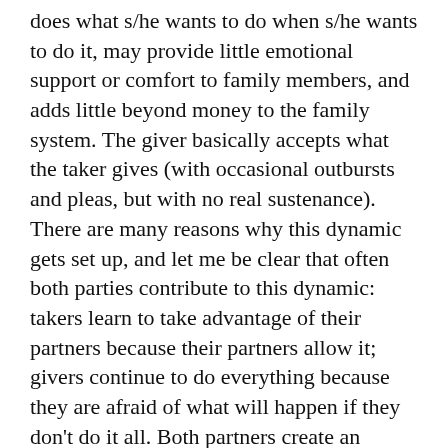does what s/he wants to do when s/he wants to do it, may provide little emotional support or comfort to family members, and adds little beyond money to the family system.  The giver basically accepts what the taker gives (with occasional outbursts and pleas, but with no real sustenance).
There are many reasons why this dynamic gets set up, and let me be clear that often both parties contribute to this dynamic:  takers learn to take advantage of their partners because their partners allow it; givers continue to do everything because they are afraid of what will happen if they don't do it all.  Both partners create an endless dance of give and take, and neither are very skilled at partnering.
If you want a loving, equally fulfilling relationship, you have to not only be willing to provide your half